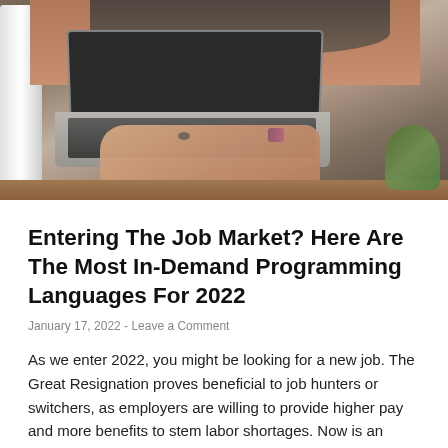[Figure (photo): Person typing on a laptop keyboard, close-up of hands with rings and bracelet, white thermos on the left, green plant on the right, wooden table surface]
Entering The Job Market? Here Are The Most In-Demand Programming Languages For 2022
January 17, 2022  -  Leave a Comment
As we enter 2022, you might be looking for a new job. The Great Resignation proves beneficial to job hunters or switchers, as employers are willing to provide higher pay and more benefits to stem labor shortages. Now is an